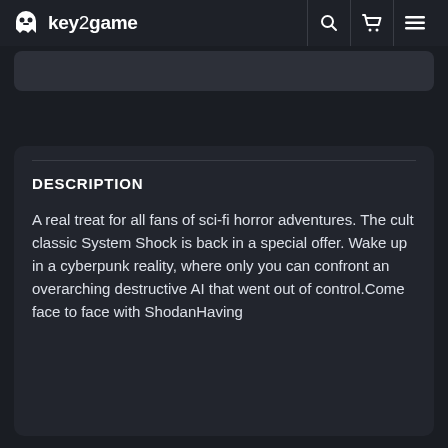key2game
DESCRIPTION
A real treat for all fans of sci-fi horror adventures. The cult classic System Shock is back in a special offer. Wake up in a cyberpunk reality, where only you can confront an overarching destructive AI that went out of control.Come face to face with ShodanHaving